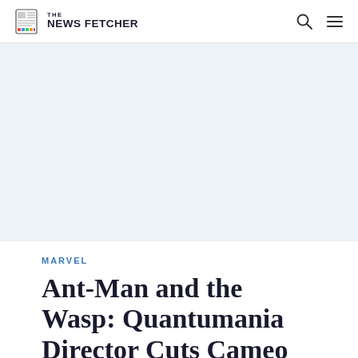THE NEWS FETCHER
[Figure (other): Advertisement banner area, light blue-grey background]
MARVEL
Ant-Man and the Wasp: Quantumania Director Cuts Cameo of an Actor